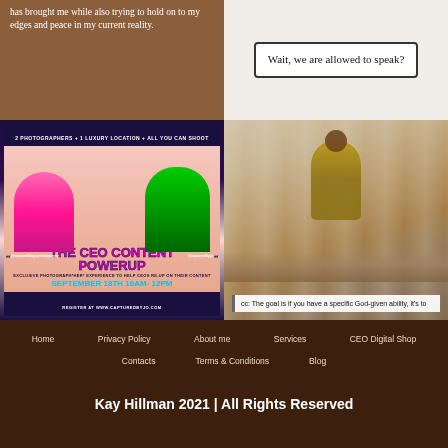[Figure (photo): Brown background card with white text about holding on to edges and peace in current reality]
[Figure (photo): White card with text: Wait, we are allowed to speak?]
[Figure (photo): Event promotional flyer: The CEO Content Powerup, 2 Photographers + 1 Luxury Location + All You Can Shoot, September 18th 10AM-12PM, Register at www.capturedbyjo.com]
[Figure (photo): Photo of woman speaking at a podium/table with audience, caption: cc: The goal is if you have a specific God-given ability, it's to...]
Home
Privacy Policy
About me
Services
CEO Digital Shop
Contacts
Terms & Conditions
Blog
Kay Hillman 2021 | All Rights Reserved